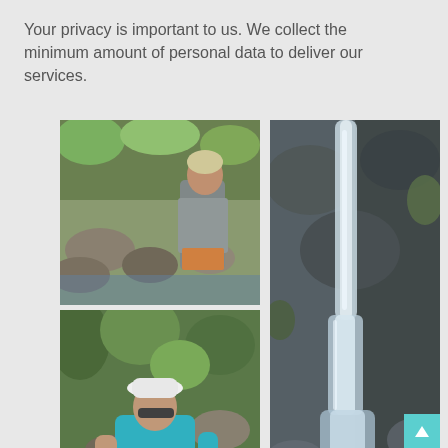Your privacy is important to us. We collect the minimum amount of personal data to deliver our services.
[Figure (photo): Three outdoor nature photos: top-left shows a man standing by a rocky stream in a forest, bottom-left shows a woman in a white hat sitting by rocks and stream, right shows a tall waterfall cascading over dark rocks.]